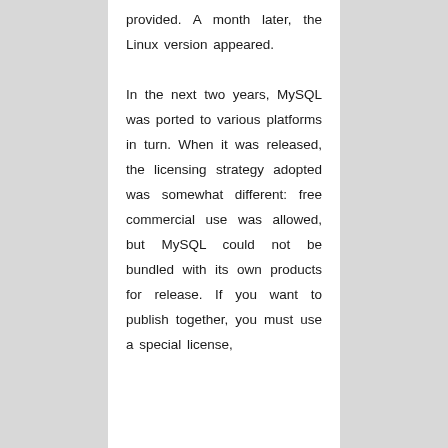provided. A month later, the Linux version appeared. In the next two years, MySQL was ported to various platforms in turn. When it was released, the licensing strategy adopted was somewhat different: free commercial use was allowed, but MySQL could not be bundled with its own products for release. If you want to publish together, you must use a special license,